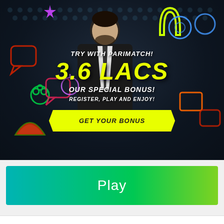[Figure (illustration): Parimatch casino promotional banner. A man in a black suit and tie stands center. Behind him are colorful gaming icons (horseshoe, speech bubbles, berry, watermelon, dice) on a dark hexagonal background. Text overlay reads TRY WITH PARIMATCH!, 3.6 LACS, OUR SPECIAL BONUS!, REGISTER, PLAY AND ENJOY!, with a yellow GET YOUR BONUS button.]
[Figure (illustration): Teal-to-green gradient button with white text reading Play]
[Figure (illustration): White bar at bottom of page, partially cropped]